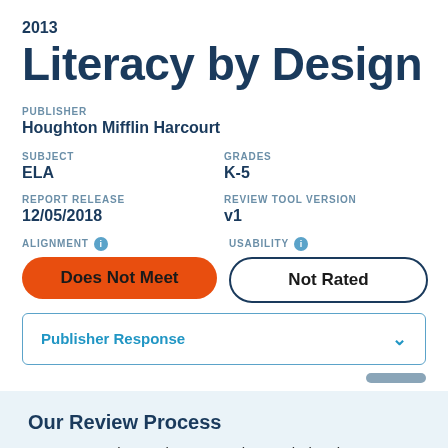2013
Literacy by Design
PUBLISHER
Houghton Mifflin Harcourt
SUBJECT
ELA
GRADES
K-5
REPORT RELEASE
12/05/2018
REVIEW TOOL VERSION
v1
ALIGNMENT  Does Not Meet
USABILITY  Not Rated
Publisher Response
Our Review Process
Learn more about EdReports' educator-led review process